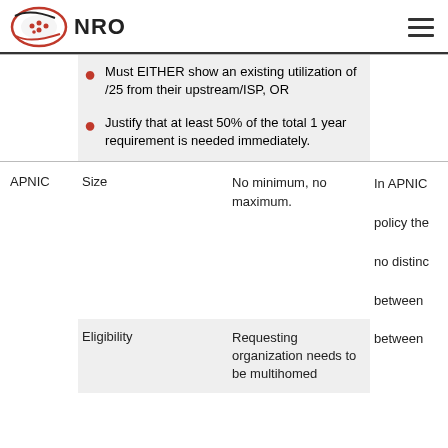NRO
Must EITHER show an existing utilization of /25 from their upstream/ISP, OR
Justify that at least 50% of the total 1 year requirement is needed immediately.
|  | Size | No minimum, no maximum. | In APNIC |
| --- | --- | --- | --- |
| APNIC | Size | No minimum, no maximum. | In APNIC policy the no distinc between |
|  | Eligibility | Requesting organization needs to be multihomed | between |